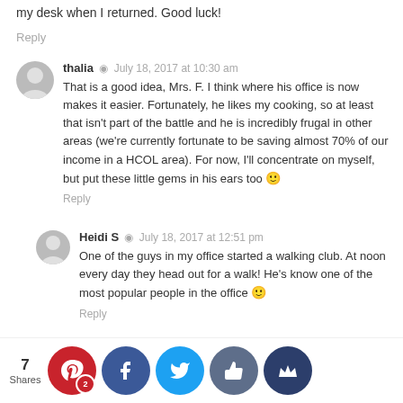my desk when I returned. Good luck!
Reply
thalia · July 18, 2017 at 10:30 am
That is a good idea, Mrs. F. I think where his office is now makes it easier. Fortunately, he likes my cooking, so at least that isn't part of the battle and he is incredibly frugal in other areas (we're currently fortunate to be saving almost 70% of our income in a HCOL area). For now, I'll concentrate on myself, but put these little gems in his ears too 🙂
Reply
Heidi S · July 18, 2017 at 12:51 pm
One of the guys in my office started a walking club. At noon every day they head out for a walk! He's know one of the most popular people in the office 🙂
Reply
Heidi S · July 18, 2017 at 12:52 pm
...ow not...
7 Shares